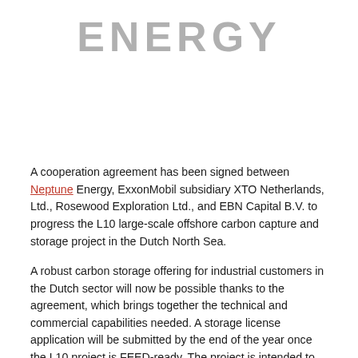ENERGY
A cooperation agreement has been signed between Neptune Energy, ExxonMobil subsidiary XTO Netherlands, Ltd., Rosewood Exploration Ltd., and EBN Capital B.V. to progress the L10 large-scale offshore carbon capture and storage project in the Dutch North Sea.
A robust carbon storage offering for industrial customers in the Dutch sector will now be possible thanks to the agreement, which brings together the technical and commercial capabilities needed. A storage license application will be submitted by the end of the year once the L10 project is FEED-ready. The project is intended to reach the concept select stage by 2022.